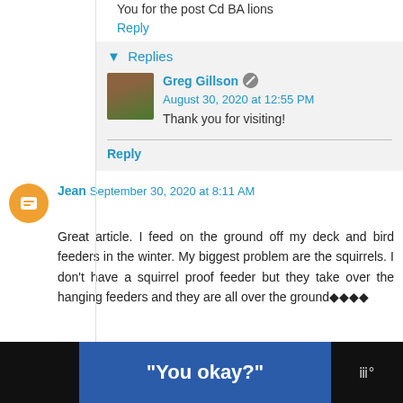You for the post Cd BA lions
Reply
▼ Replies
Greg Gillson  August 30, 2020 at 12:55 PM
Thank you for visiting!
Reply
Jean  September 30, 2020 at 8:11 AM
Great article. I feed on the ground off my deck and bird feeders in the winter. My biggest problem are the squirrels. I don't have a squirrel proof feeder but they take over the hanging feeders and they are all over the ground◆◆◆◆
“You okay?”